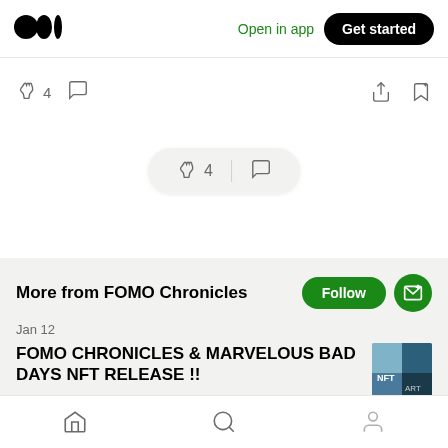Medium logo | Open in app | Get started
[Figure (screenshot): Action bar with clapping icon, count 4, comment icon, share icon, bookmark icon]
[Figure (screenshot): Floating pill with clapping icon, count 4, divider, comment icon]
More from FOMO Chronicles
Jan 12
FOMO CHRONICLES & MARVELOUS BAD DAYS NFT RELEASE !!
Home | Search | Profile